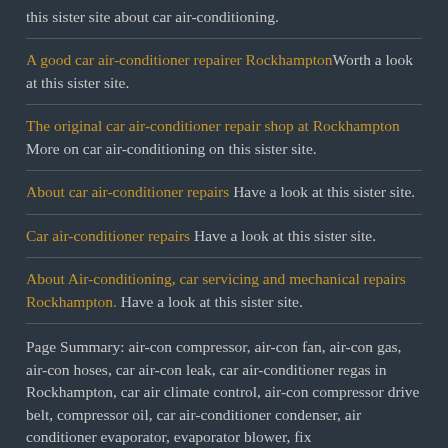this sister site about car air-conditioning.
A good car air-conditioner repairer RockhamptonWorth a look at this sister site.
The original car air-conditioner repair shop at Rockhampton More on car air-conditioning on this sister site.
About car air-conditioner repairs Have a look at this sister site.
Car air-conditioner repairs Have a look at this sister site.
About Air-conditioning, car servicing and mechanical repairs Rockhampton. Have a look at this sister site.
Page Summary: air-con compressor, air-con fan, air-con gas, air-con hoses, car air-con leak, car air-conditioner regas in Rockhampton, car air climate control, air-con compressor drive belt, compressor oil, car air-conditioner condenser, air conditioner evaporator, evaporator blower, fix